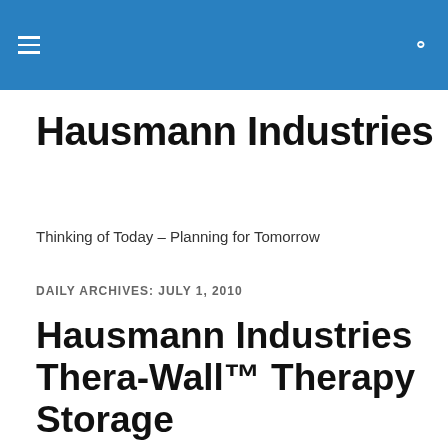Hausmann Industries — site header bar with menu and search icons
Hausmann Industries
Thinking of Today – Planning for Tomorrow
DAILY ARCHIVES: JULY 1, 2010
Hausmann Industries Thera-Wall™ Therapy Storage
Privacy & Cookies: This site uses cookies. By continuing to use this website, you agree to their use.
To find out more, including how to control cookies, see here: Cookie Policy
Close and accept